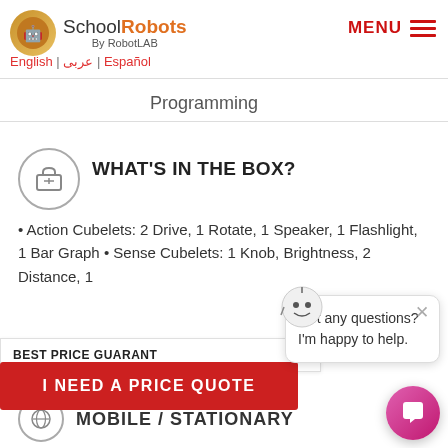SchoolRobots By RobotLAB — English | عربى | Español — MENU
Programming
WHAT'S IN THE BOX?
Action Cubelets: 2 Drive, 1 Rotate, 1 Speaker, 1 Flashlight, 1 Bar Graph • Sense Cubelets: 1 Knob, Brightness, 2 Distance, 1
Got any questions? I'm happy to help.
BEST PRICE GUARANT
I NEED A PRICE QUOTE
MOBILE / STATIONARY